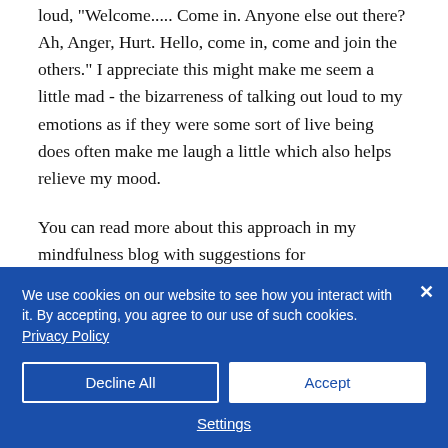loud, "Welcome..... Come in. Anyone else out there? Ah, Anger, Hurt. Hello, come in, come and join the others." I appreciate this might make me seem a little mad - the bizarreness of talking out loud to my emotions as if they were some sort of live being does often make me laugh a little which also helps relieve my mood.
You can read more about this approach in my mindfulness blog with suggestions for
We use cookies on our website to see how you interact with it. By accepting, you agree to our use of such cookies. Privacy Policy
Decline All
Accept
Settings